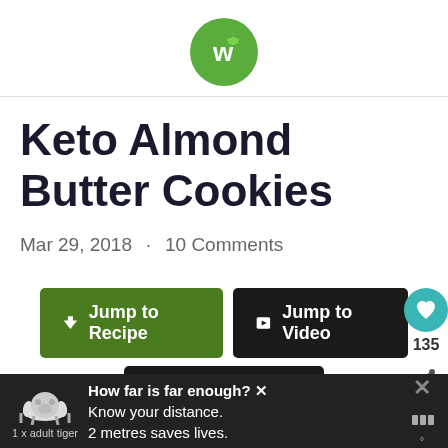[Figure (logo): Round green circle logo with white letter w and leaf icon]
Keto Almond Butter Cookies
Mar 29, 2018 · 10 Comments
Jump to Recipe | Jump to Video | Print Recipe
[Figure (other): Advertisement banner: tiger graphic, text 'How far is far enough? Know your distance. 2 metres saves lives. 1 x adult tiger']